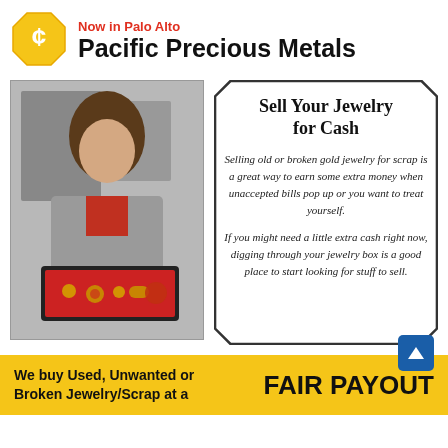[Figure (logo): Pacific Precious Metals logo — gold octagon with currency symbol]
Now in Palo Alto
Pacific Precious Metals
[Figure (photo): Woman in gray blazer holding a red velvet tray with gold jewelry items]
Sell Your Jewelry for Cash
Selling old or broken gold jewelry for scrap is a great way to earn some extra money when unaccepted bills pop up or you want to treat yourself.
If you might need a little extra cash right now, digging through your jewelry box is a good place to start looking for stuff to sell.
We buy Used, Unwanted or Broken Jewelry/Scrap at a
FAIR PAYOUT